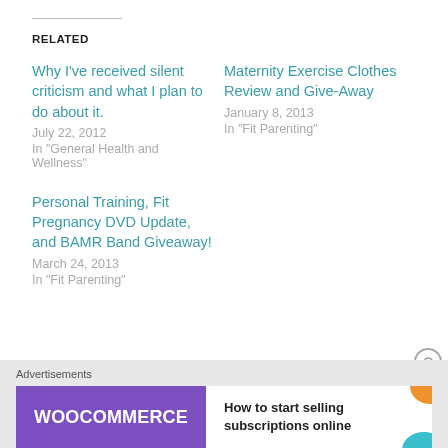RELATED
Why I've received silent criticism and what I plan to do about it.
July 22, 2012
In "General Health and Wellness"
Maternity Exercise Clothes Review and Give-Away
January 8, 2013
In "Fit Parenting"
Personal Training, Fit Pregnancy DVD Update, and BAMR Band Giveaway!
March 24, 2013
In "Fit Parenting"
[Figure (infographic): WooCommerce advertisement banner: purple background with WooCommerce logo and teal arrow, text 'How to start selling subscriptions online', with orange and blue decorative shapes on the right]
Advertisements